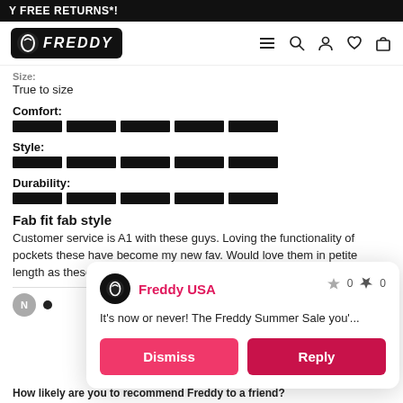Y FREE RETURNS*!
[Figure (logo): Freddy brand logo with leaf icon on black background]
Size:
True to size
Comfort:
Style:
Durability:
Fab fit fab style
Customer service is A1 with these guys. Loving the functionality of pockets these have become my new fav. Would love them in petite length as these are a little long.
[Figure (screenshot): Popup notification from Freddy USA showing a summer sale message with Dismiss and Reply buttons]